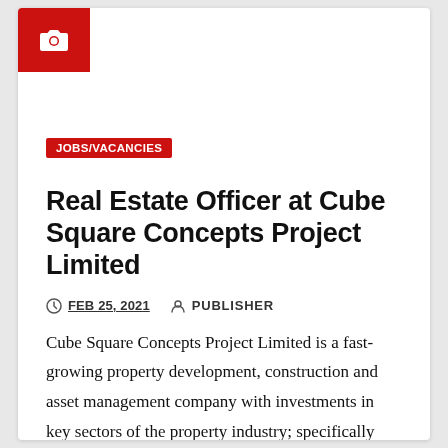[Figure (logo): Red square icon with white camera symbol in top-left of card]
JOBS/VACANCIES
Real Estate Officer at Cube Square Concepts Project Limited
FEB 25, 2021   PUBLISHER
Cube Square Concepts Project Limited is a fast-growing property development, construction and asset management company with investments in key sectors of the property industry; specifically Retail, Hospitality, Residential, Education, Mixed-Use…